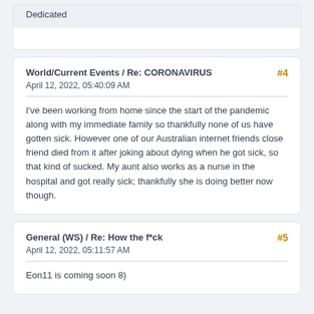Dedicated
World/Current Events / Re: CORONAVIRUS
April 12, 2022, 05:40:09 AM
I've been working from home since the start of the pandemic along with my immediate family so thankfully none of us have gotten sick. However one of our Australian internet friends close friend died from it after joking about dying when he got sick, so that kind of sucked. My aunt also works as a nurse in the hospital and got really sick; thankfully she is doing better now though.
General (WS) / Re: How the f*ck
April 12, 2022, 05:11:57 AM
Eon11 is coming soon 8)